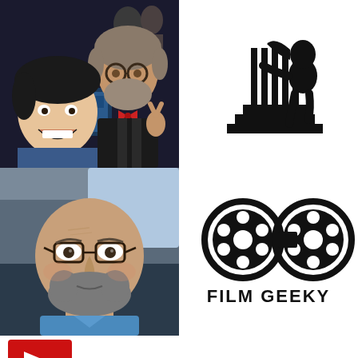[Figure (photo): Two people at a film premiere, one young man in front smiling, another older man with beard and round glasses making a peace sign, holding a book/poster]
[Figure (logo): Silhouette logo of a figure (possibly monster/creature) on steps or stairs, black on white background]
[Figure (photo): Selfie of a middle-aged bearded man with glasses inside a car, stylized/filtered photo]
[Figure (logo): Film Geeky logo: two film reel circles connected like glasses/bowtie, with text FILM GEEKY below in bold sans-serif]
[Figure (logo): Partial red logo visible at bottom left, appears to be a stylized letter or graphic in red]
[Figure (logo): Colorful stylized text logo at bottom right, orange/yellow comic-style lettering]